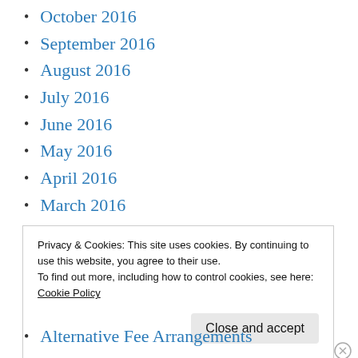October 2016
September 2016
August 2016
July 2016
June 2016
May 2016
April 2016
March 2016
February 2016
January 2016
Privacy & Cookies: This site uses cookies. By continuing to use this website, you agree to their use.
To find out more, including how to control cookies, see here:
Cookie Policy
Close and accept
Alternative Fee Arrangements